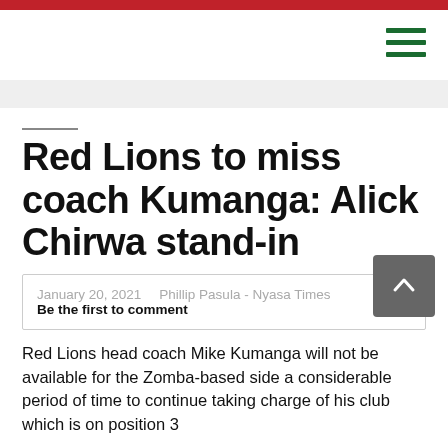Red Lions to miss coach Kumanga: Alick Chirwa stand-in
January 20, 2021    Phillip Pasula - Nyasa Times  Be the first to comment
Red Lions head coach Mike Kumanga will not be available for the Zomba-based side a considerable period of time to continue taking charge of his club which is on position 3…